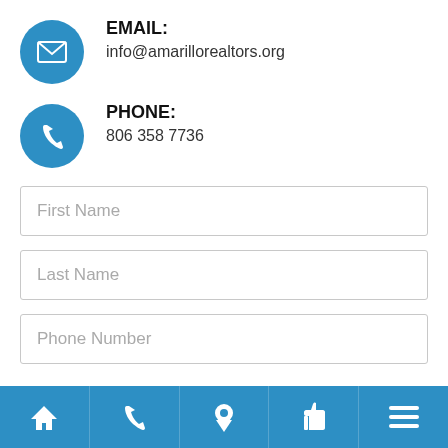EMAIL: info@amarillorealtors.org
PHONE: 806 358 7736
First Name
Last Name
Phone Number
[Figure (infographic): Bottom navigation bar with 5 icons: home, phone, map pin, thumbs up, and menu (hamburger) on a blue background]